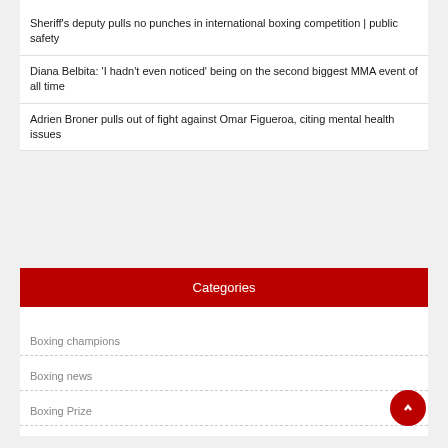Sheriff's deputy pulls no punches in international boxing competition | public safety
Diana Belbita: 'I hadn't even noticed' being on the second biggest MMA event of all time
Adrien Broner pulls out of fight against Omar Figueroa, citing mental health issues
Categories
Boxing champions
Boxing news
Boxing Prize